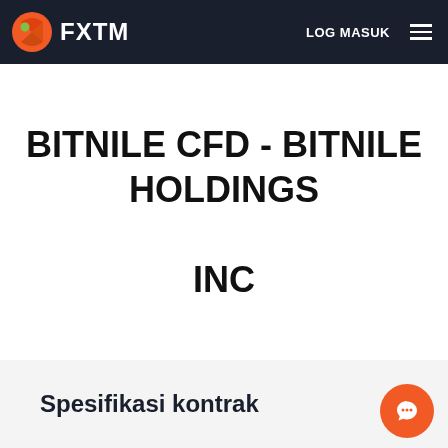FXTM  LOG MASUK
BITNILE CFD - BITNILE HOLDINGS INC
Spesifikasi kontrak